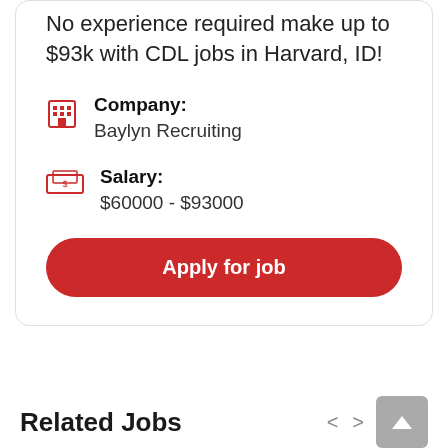No experience required make up to $93k with CDL jobs in Harvard, ID!
Company: Baylyn Recruiting
Salary: $60000 - $93000
Apply for job
Related Jobs